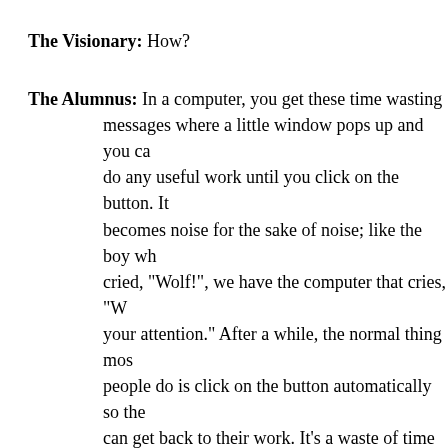The Visionary: How?
The Alumnus: In a computer, you get these time wasting messages where a little window pops up and you can't do any useful work until you click on the button. It becomes noise for the sake of noise; like the boy who cried, "Wolf!", we have the computer that cries, "Want your attention." After a while, the normal thing most people do is click on the button automatically so they can get back to their work. It's a waste of time to try to decipher the cryptic messages.
So when people go to print, another one of these waste-of-time windows pops up, except that this time, whe…